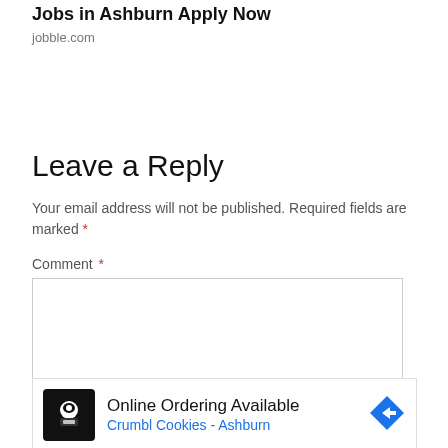Jobs in Ashburn Apply Now
jobble.com
Leave a Reply
Your email address will not be published. Required fields are marked *
Comment *
[Figure (screenshot): Empty comment text area input box with border]
[Figure (screenshot): Ad banner: Online Ordering Available - Crumbl Cookies - Ashburn with chef logo and arrow icon]